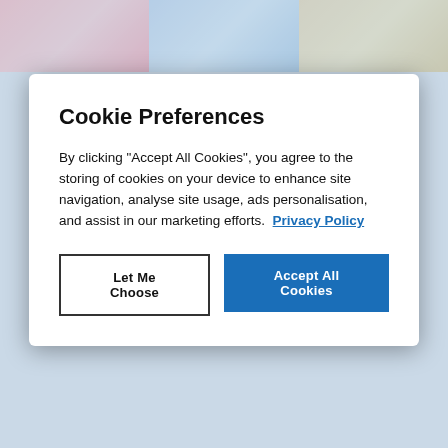[Figure (screenshot): Cartoon illustration strip showing three panels: pink background with horse/unicorn cartoon, blue sky with cloud cartoon, tan/desert island with pirate cartoon]
Images of Resilience
$149.00
Cookie Preferences
By clicking “Accept All Cookies”, you agree to the storing of cookies on your device to enhance site navigation, analyse site usage, ads personalisation, and assist in our marketing efforts.  Privacy Policy
Let Me Choose
Accept All Cookies